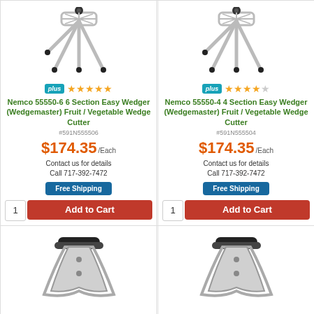[Figure (photo): Nemco 55550-6 6 Section Easy Wedger vegetable cutter product photo, silver metal stand with black accents]
plus ★★★★★ Nemco 55550-6 6 Section Easy Wedger (Wedgemaster) Fruit / Vegetable Wedge Cutter #591N555506 $174.35/Each Contact us for details Call 717-392-7472 Free Shipping 1 Add to Cart
[Figure (photo): Nemco 55550-4 4 Section Easy Wedger vegetable cutter product photo, silver metal stand with black accents]
plus ★★★★☆ Nemco 55550-4 4 Section Easy Wedger (Wedgemaster) Fruit / Vegetable Wedge Cutter #591N555504 $174.35/Each Contact us for details Call 717-392-7472 Free Shipping 1 Add to Cart
[Figure (photo): Partial product image bottom left - appears to be a handle/cutter tool in silver and black]
[Figure (photo): Partial product image bottom right - similar handle/cutter tool in silver and black]